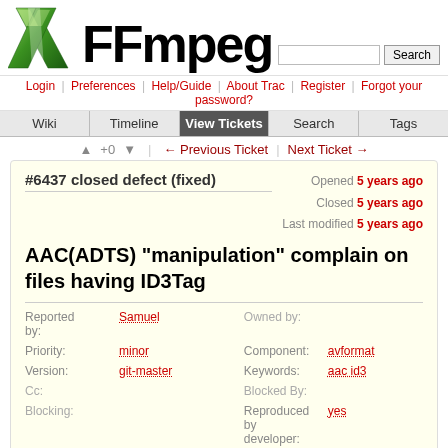[Figure (logo): FFmpeg green diagonal logo mark]
FFmpeg
Login | Preferences | Help/Guide | About Trac | Register | Forgot your password?
Wiki | Timeline | View Tickets | Search | Tags
↑ +0 ↓  ← Previous Ticket | Next Ticket →
#6437 closed defect (fixed)
Opened 5 years ago
Closed 5 years ago
Last modified 5 years ago
AAC(ADTS) "manipulation" complain on files having ID3Tag
| Field | Value | Field | Value |
| --- | --- | --- | --- |
| Reported by: | Samuel | Owned by: |  |
| Priority: | minor | Component: | avformat |
| Version: | git-master | Keywords: | aac id3 |
| Cc: |  | Blocked By: |  |
| Blocking: |  | Reproduced by developer: | yes |